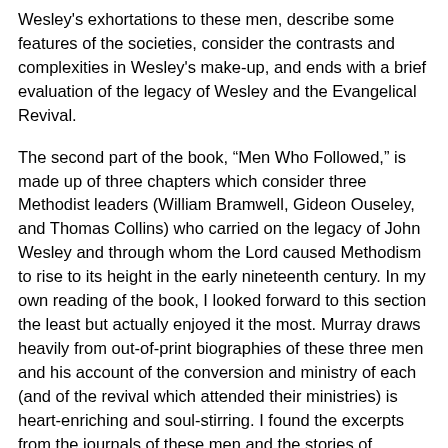Wesley's exhortations to these men, describe some features of the societies, consider the contrasts and complexities in Wesley's make-up, and ends with a brief evaluation of the legacy of Wesley and the Evangelical Revival.
The second part of the book, “Men Who Followed,” is made up of three chapters which consider three Methodist leaders (William Bramwell, Gideon Ouseley, and Thomas Collins) who carried on the legacy of John Wesley and through whom the Lord caused Methodism to rise to its height in the early nineteenth century. In my own reading of the book, I looked forward to this section the least but actually enjoyed it the most. Murray draws heavily from out-of-print biographies of these three men and his account of the conversion and ministry of each (and of the revival which attended their ministries) is heart-enriching and soul-stirring. I found the excerpts from the journals of these men and the stories of spiritual awakening among their hearers especially edifying. Perhaps I can best describe the effect of these chapters with the words which someone once said of William Bramwell: “I never left him without a determination to live nearer to God” (136).